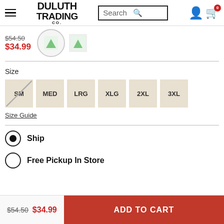Duluth Trading Co — Search bar — User icon — Cart
$54.50 $34.99
Size
SM (unavailable), MED, LRG, XLG, 2XL, 3XL
Size Guide
Ship
Free Pickup In Store
$54.50 $34.99  ADD TO CART